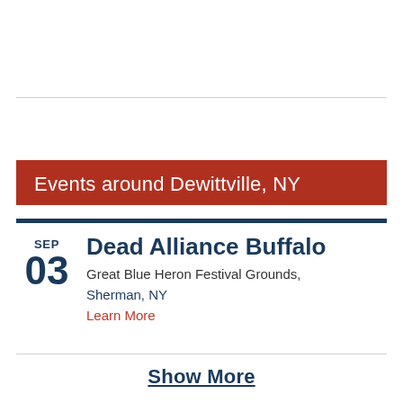Events around Dewittville, NY
SEP 03 Dead Alliance Buffalo Great Blue Heron Festival Grounds, Sherman, NY Learn More
Show More